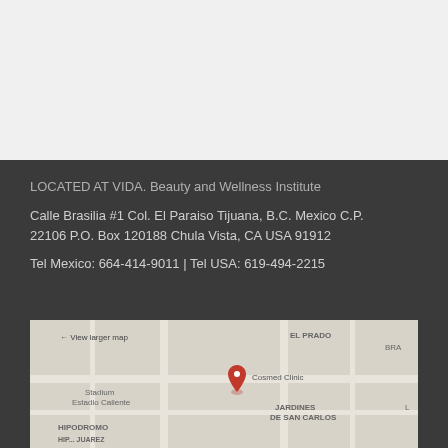LOCATED AT VIDA. Beauty and Wellness Institute
Calle Brasilia #1 Col. El Paraiso Tijuana, B.C. Mexico C.P. 22106 P.O. Box 120188 Chula Vista, CA USA 91912
Tel Mexico: 664-414-9011 | Tel USA: 619-494-2215
[Figure (map): Google Maps embed showing location of Cosmed Clinic near El Prado and Jardines De San Carlos in Tijuana, Mexico. Shows Stadium Estadio Caliente and Hipodromo landmarks.]